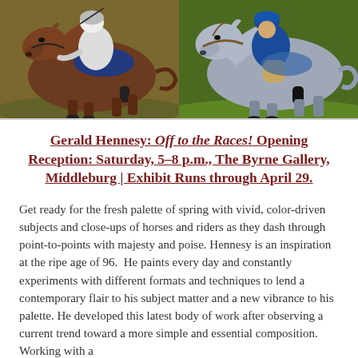[Figure (photo): Two side-by-side paintings of horses and jockeys racing: left panel shows a brown horse with jockey in blue saddle cloth; right panel shows a grey horse with jockey in blue/tan colors.]
Gerald Hennesy: Off to the Races! Opening Reception: Saturday, 5–8 p.m., The Byrne Gallery, Middleburg | Exhibit Runs through April 29.
Get ready for the fresh palette of spring with vivid, color-driven subjects and close-ups of horses and riders as they dash through point-to-points with majesty and poise. Hennesy is an inspiration at the ripe age of 96.  He paints every day and constantly experiments with different formats and techniques to lend a contemporary flair to his subject matter and a new vibrance to his palette. He developed this latest body of work after observing a current trend toward a more simple and essential composition.  Working with a